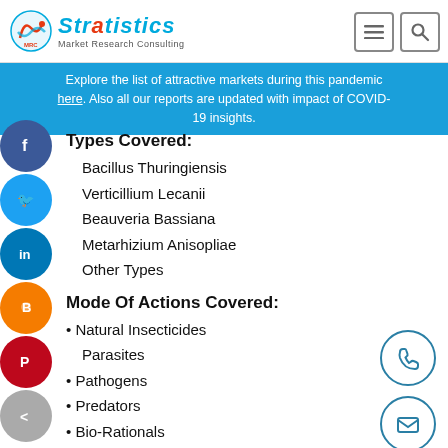Stratistics Market Research Consulting
Explore the list of attractive markets during this pandemic here. Also all our reports are updated with impact of COVID-19 insights.
Types Covered:
Bacillus Thuringiensis
Verticillium Lecanii
Beauveria Bassiana
Metarhizium Anisopliae
Other Types
Mode Of Actions Covered:
Natural Insecticides
Parasites
Pathogens
Predators
Bio-Rationals